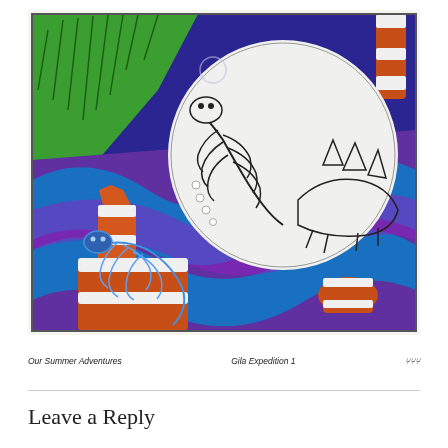[Figure (illustration): A colorful screenprint/linocut style artwork depicting animal skeletons (appearing dinosaur-like) among blue and purple swirling water or fabric, bright green grass in the background, and orange-white striped traffic cones/barrels. The color palette features vivid blue, green, purple, and orange. Below the image, handwritten-style text reads: 'Our Summer Adventures', 'Gila Expedition 1', and an artist signature.]
Our Summer Adventures          Gila Expedition 1          [signature]
Leave a Reply